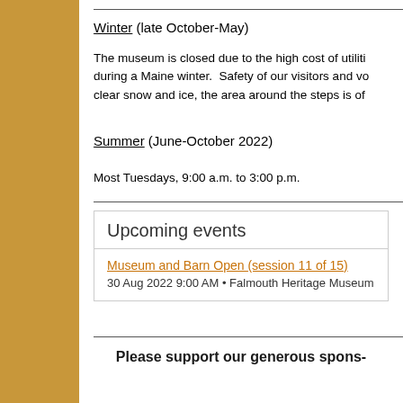Winter (late October-May)
The museum is closed due to the high cost of utilities during a Maine winter. Safety of our visitors and vo... clear snow and ice, the area around the steps is of...
Summer (June-October 2022)
Most Tuesdays, 9:00 a.m. to 3:00 p.m.
Upcoming events
Museum and Barn Open (session 11 of 15)
30 Aug 2022 9:00 AM • Falmouth Heritage Museum
Please support our generous spons-